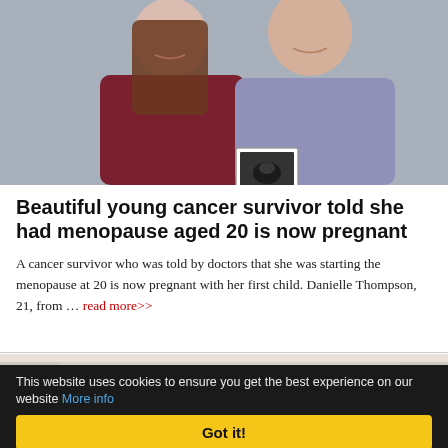[Figure (photo): A couple smiling and holding up a black-and-white ultrasound photo. The woman on the left has long brown hair and wears a dark red sweater. The man on the right wears a light purple button-down shirt. Background is a neutral grey wall.]
Beautiful young cancer survivor told she had menopause aged 20 is now pregnant
A cancer survivor who was told by doctors that she was starting the menopause at 20 is now pregnant with her first child. Danielle Thompson, 21, from … read more>>
[Figure (photo): Partial view of a room interior, lightly visible before being covered by the cookie consent bar.]
This website uses cookies to ensure you get the best experience on our website More info
Got it!